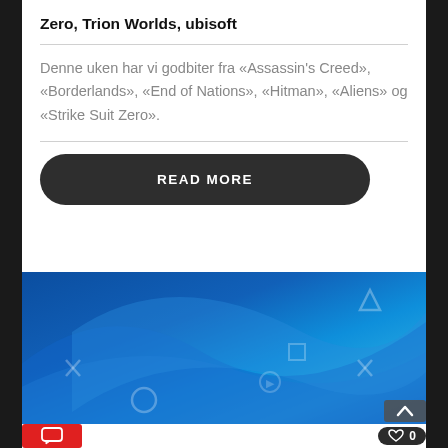Zero, Trion Worlds, ubisoft
Denne uken har vi godbiter fra «Assassin's Creed», «Borderlands», «End of Nations», «Hitman», «Aliens» og «Strike Suit Zero».
READ MORE
[Figure (illustration): PlayStation branded blue background with controller button symbols (triangle, square, X, circle) in light blue tones, with swooping wave design]
[Figure (illustration): Bottom bar with red comment button icon and dark like button showing heart icon and 0 count]